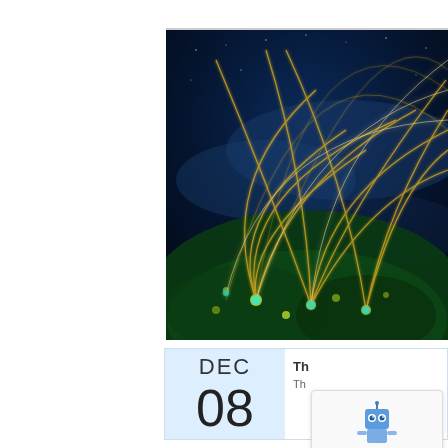[Figure (photo): Aerial night-time photo of a city or globe showing a network of glowing yellow and white light trails/connections against a dark blue background, suggesting global connectivity or network visualization. The image is partially cropped on the right side of the page.]
[Figure (screenshot): A calendar widget showing 'DEC' as the month and '08' as the day, displayed on a light blue background. The right side shows partial text 'Th' suggesting Thursday. A reCAPTCHA overlay widget with a robot icon and 'Privacy - Terms' footer is partially visible over the bottom-right of the calendar.]